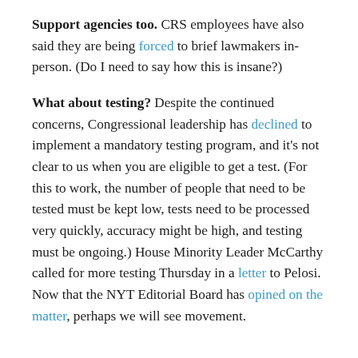Support agencies too. CRS employees have also said they are being forced to brief lawmakers in-person. (Do I need to say how this is insane?)
What about testing? Despite the continued concerns, Congressional leadership has declined to implement a mandatory testing program, and it's not clear to us when you are eligible to get a test. (For this to work, the number of people that need to be tested must be kept low, tests need to be processed very quickly, accuracy might be high, and testing must be ongoing.) House Minority Leader McCarthy called for more testing Thursday in a letter to Pelosi. Now that the NYT Editorial Board has opined on the matter, perhaps we will see movement.